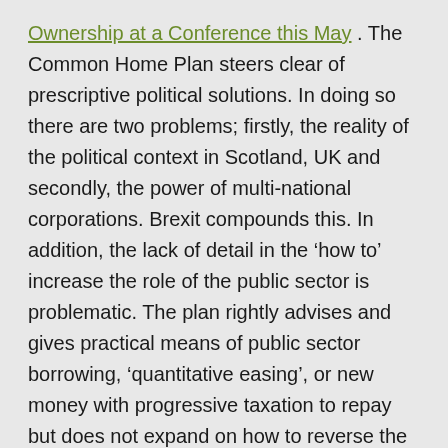Ownership at a Conference this May . The Common Home Plan steers clear of prescriptive political solutions.  In doing so there are two problems; firstly, the reality of the political context in Scotland, UK and secondly, the power of multi-national corporations.  Brexit compounds this. In addition, the lack of detail in the 'how to' increase the role of the public sector is problematic.  The plan rightly advises and gives practical means of public sector borrowing, 'quantitative easing', or new money with progressive taxation to repay but does not expand on how to reverse the current ownership arrangement.  Energy policy itself remains largely reserved to Westminster.  Increased self determination and progress to Independence will be necessary to realise a Scottish Green New Deal, a sentiment that